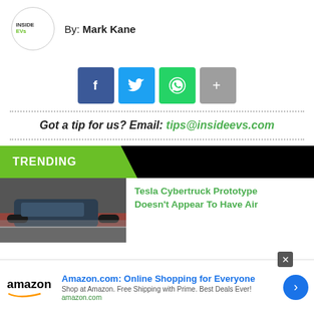By: Mark Kane
[Figure (infographic): Social share buttons: Facebook, Twitter, WhatsApp, and a plus/share button]
Got a tip for us? Email: tips@insideevs.com
TRENDING
[Figure (photo): Tesla Cybertruck Prototype vehicle photo]
Tesla Cybertruck Prototype Doesn't Appear To Have Air
[Figure (infographic): Amazon advertisement: Amazon.com: Online Shopping for Everyone. Shop at Amazon. Free Shipping with Prime. Best Deals Ever! amazon.com]